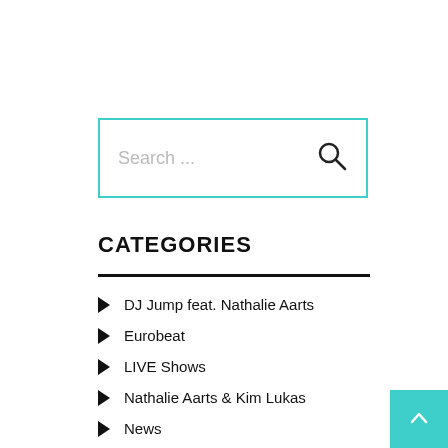[Figure (screenshot): Search input field with teal/cyan border and a search magnifying glass icon on the right. Placeholder text reads 'Search ...']
CATEGORIES
DJ Jump feat. Nathalie Aarts
Eurobeat
LIVE Shows
Nathalie Aarts & Kim Lukas
News